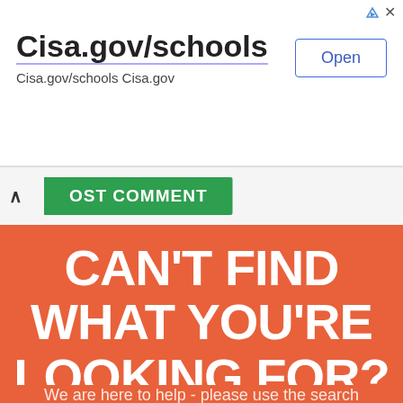[Figure (screenshot): Ad banner for Cisa.gov/schools with an Open button, showing the URL Cisa.gov/schools Cisa.gov, with ad icon and close button in top right.]
OST COMMENT
CAN'T FIND WHAT YOU'RE LOOKING FOR?
We are here to help - please use the search